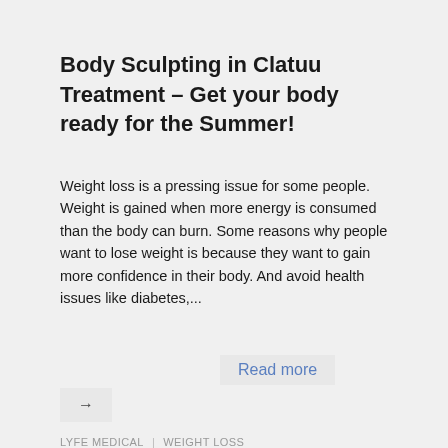Body Sculpting in Clatuu Treatment – Get your body ready for the Summer!
Weight loss is a pressing issue for some people. Weight is gained when more energy is consumed than the body can burn. Some reasons why people want to lose weight is because they want to gain more confidence in their body. And avoid health issues like diabetes,...
Read more
→
LYFE MEDICAL | WEIGHT LOSS
DECEMBER 27, 2019   0